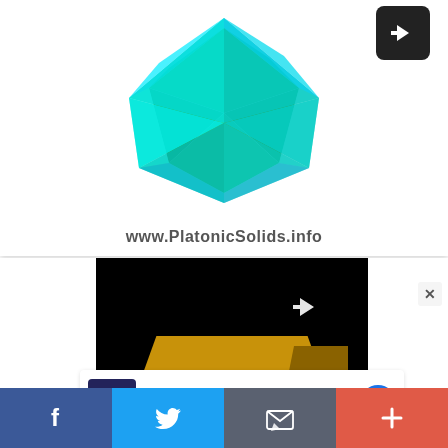[Figure (illustration): 3D Platonic solid (compound of two octahedra) rendered in cyan and green on white background, from www.PlatonicSolids.info]
[Figure (screenshot): Share/forward button icon (white arrow on dark background) in top right corner]
www.PlatonicSolids.info
[Figure (screenshot): Second video thumbnail showing a golden/yellow 3D shape on black background with share arrow icon]
[Figure (screenshot): Close X button]
[Figure (screenshot): Advertisement: CM logo with blue diamond navigation icon showing In-store shopping, Curbside pickup, Delivery options]
[Figure (screenshot): Bottom social sharing bar with Facebook, Twitter, Email, and Plus buttons]